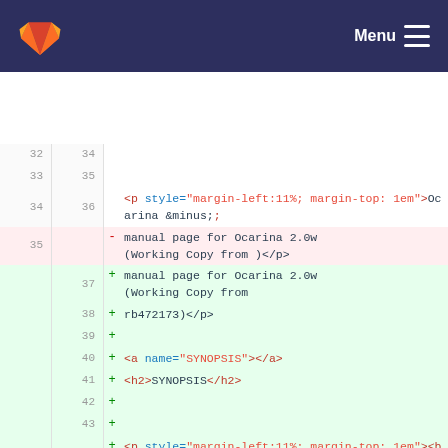GitLab - Menu
[Figure (screenshot): Git diff view showing HTML code changes. Lines 32-37 on left (old), 34-47 on right (new). Removed line 35 shows old manual page text, added lines 37-45 show new manual page and synopsis HTML. Background: dark navy header with GitLab logo and Menu toggle.]